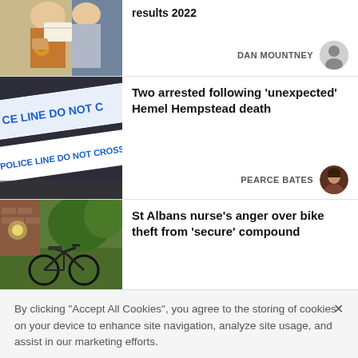[Figure (photo): Partial news card at top showing young women looking at papers (exam results 2022 article), with author DAN MOUNTNEY]
results 2022
DAN MOUNTNEY
[Figure (photo): Police crime scene tape reading POLICE LINE DO NOT CROSS]
Two arrested following 'unexpected' Hemel Hempstead death
PEARCE BATES
[Figure (photo): Bicycle parked in a garden/outdoor area]
St Albans nurse's anger over bike theft from 'secure' compound
By clicking "Accept All Cookies", you agree to the storing of cookies on your device to enhance site navigation, analyze site usage, and assist in our marketing efforts.